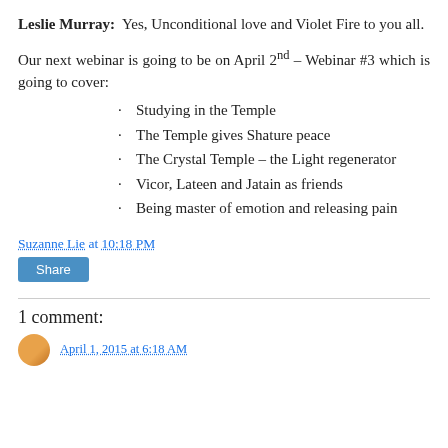Leslie Murray: Yes, Unconditional love and Violet Fire to you all.
Our next webinar is going to be on April 2nd – Webinar #3 which is going to cover:
Studying in the Temple
The Temple gives Shature peace
The Crystal Temple – the Light regenerator
Vicor, Lateen and Jatain as friends
Being master of emotion and releasing pain
Suzanne Lie at 10:18 PM
Share
1 comment: